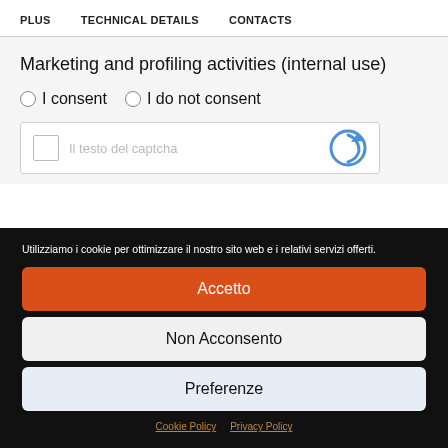PLUS   TECHNICAL DETAILS   CONTACTS
Marketing and profiling activities (internal use)
○ I consent  ○ I do not consent
[Figure (other): reCAPTCHA verification widget with checkbox and reCAPTCHA logo]
Utilizziamo i cookie per ottimizzare il nostro sito web e i relativi servizi offerti.
Accetto
Non Acconsento
Preferenze
Cookie Policy   Privacy Policy